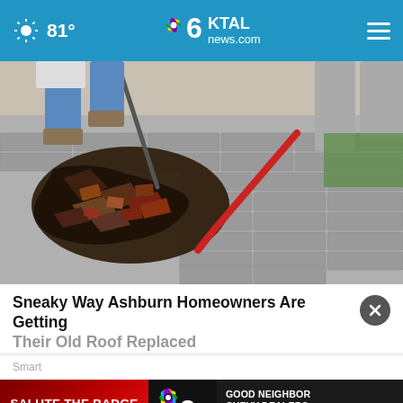81° | 6KTAL news.com
[Figure (photo): Workers removing damaged shingles from a roof, showing torn up old roofing material with tools visible]
Sneaky Way Ashburn Homeowners Are Getting Their Old Roof Replaced
Smart...
[Figure (other): KTAL NBC 6 News banner advertisement: SALUTE THE BADGE - CELEBRATING 5 YEARS - GOOD NEIGHBOR CHEVY DEALERS - WEDNESDAYS 10PM]